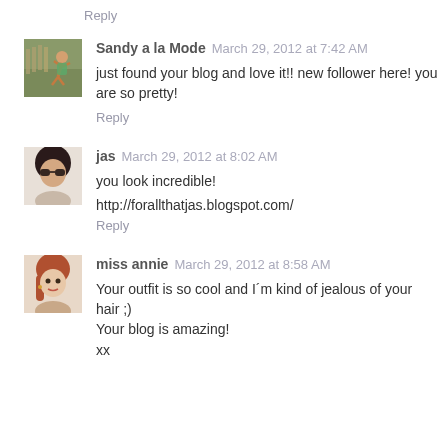Reply
Sandy a la Mode  March 29, 2012 at 7:42 AM
just found your blog and love it!! new follower here! you are so pretty!
Reply
jas  March 29, 2012 at 8:02 AM
you look incredible!
http://forallthatjas.blogspot.com/
Reply
miss annie  March 29, 2012 at 8:58 AM
Your outfit is so cool and I´m kind of jealous of your hair ;) Your blog is amazing!
xx